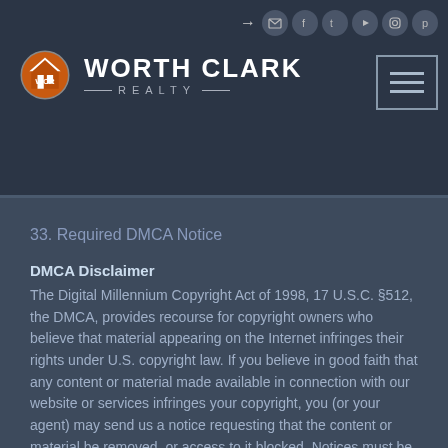[Figure (logo): Worth Clark Realty logo with orange circular WCR emblem and navigation icons]
33. Required DMCA Notice
DMCA Disclaimer
The Digital Millennium Copyright Act of 1998, 17 U.S.C. §512, the DMCA, provides recourse for copyright owners who believe that material appearing on the Internet infringes their rights under U.S. copyright law. If you believe in good faith that any content or material made available in connection with our website or services infringes your copyright, you (or your agent) may send us a notice requesting that the content or material be removed, or access to it blocked. Notices must be sent in writing by email to DMCAnotice@MLSGrid.com. The DMCA requires that your notice